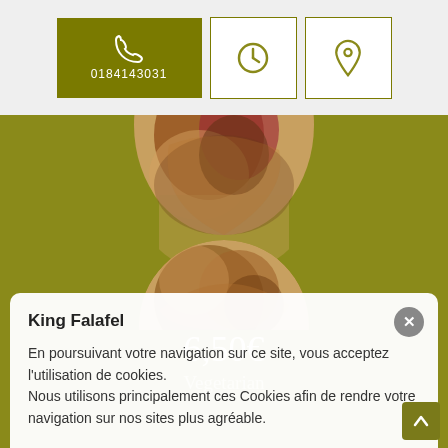0184143031
[Figure (photo): Circular cropped photo of a falafel/pita dish with vegetables]
Pita Falafel
6,50€
Vegetarian
[Figure (photo): Circular cropped photo of King Falafel dish]
King Falafel
En poursuivant votre navigation sur ce site, vous acceptez l'utilisation de cookies.
Nous utilisons principalement ces Cookies afin de rendre votre navigation sur nos sites plus agréable.